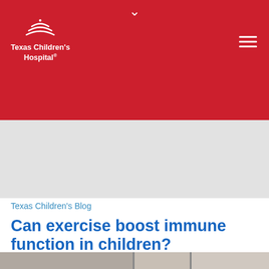Texas Children's Hospital
[Figure (other): Advertisement banner / gray placeholder area]
Texas Children's Blog
Can exercise boost immune function in children?
[Figure (photo): Article header photo showing indoor scene with window light]